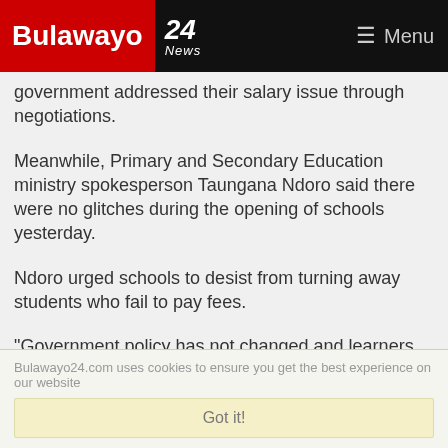Bulawayo 24 News — Menu
government addressed their salary issue through negotiations.
Meanwhile, Primary and Secondary Education ministry spokesperson Taungana Ndoro said there were no glitches during the opening of schools yesterday.
Ndoro urged schools to desist from turning away students who fail to pay fees.
"Government policy has not changed and learners cannot be turned away for failing to pay fees. Remember the contract for paying school fees is between the parent and the school," Ndoro said.
Bulawayo24.com uses cookies to ensure you get the best experience on our website
Got it!